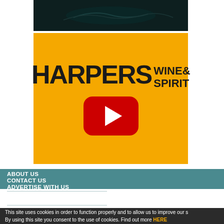[Figure (screenshot): Dark teal/black background image strip at the top, appears to show a fish or underwater scene]
[Figure (logo): Harpers Wine & Spirit logo on amber/gold background with YouTube play button below]
ABOUT US
CONTACT US
ADVERTISE WITH US
Technical Specifications
ABOUT THIS WEBSITE
This site uses cookies in order to function properly and to allow us to improve our s By using this site you consent to the use of cookies. Find out more HERE